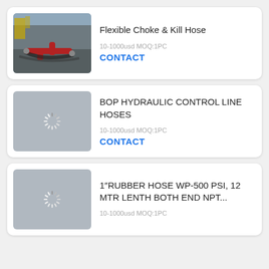[Figure (photo): Photo of flexible choke and kill hose equipment on a drilling site, showing red pipes and hoses on a dark surface.]
Flexible Choke & Kill Hose
10-1000usd MOQ:1PC
CONTACT
[Figure (photo): Loading spinner placeholder image for BOP Hydraulic Control Line Hoses product.]
BOP HYDRAULIC CONTROL LINE HOSES
10-1000usd MOQ:1PC
CONTACT
[Figure (photo): Loading spinner placeholder image for 1" Rubber Hose WP-500 PSI product.]
1"RUBBER HOSE WP-500 PSI, 12 MTR LENTH BOTH END NPT...
10-1000usd MOQ:1PC